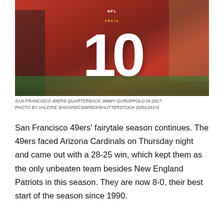[Figure (photo): San Francisco 49ers quarterback Jimmy Garoppolo wearing red jersey number 10, arms raised, celebrating on the field in 2017.]
SAN FRANCISCO 49ERS QUARTERBACK JIMMY GAROPPOLO IN 2017. PHOTO BY VALERIE SHOAPS/CSM/REX/SHUTTERSTOCK (9301241H)
San Francisco 49ers' fairytale season continues. The 49ers faced Arizona Cardinals on Thursday night and came out with a 28-25 win, which kept them as the only unbeaten team besides New England Patriots in this season. They are now 8-0, their best start of the season since 1990.